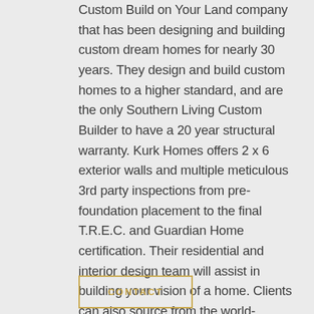Custom Build on Your Land company that has been designing and building custom dream homes for nearly 30 years. They design and build custom homes to a higher standard, and are the only Southern Living Custom Builder to have a 20 year structural warranty. Kurk Homes offers 2 x 6 exterior walls and multiple meticulous 3rd party inspections from pre-foundation placement to the final T.R.E.C. and Guardian Home certification. Their residential and interior design team will assist in building your vision of a home. Clients can also source from the world-renowned Southern Living Plans selection.
CONTACT